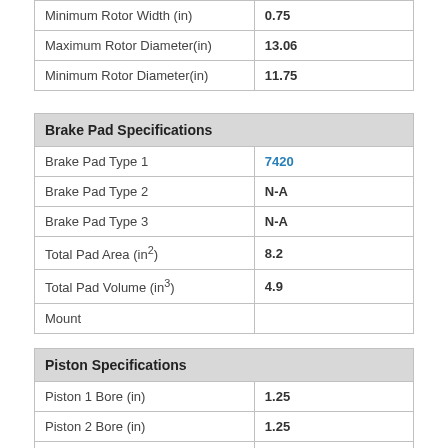| Minimum Rotor Width (in) | 0.75 |
| Maximum Rotor Diameter(in) | 13.06 |
| Minimum Rotor Diameter(in) | 11.75 |
| Brake Pad Specifications |  |
| --- | --- |
| Brake Pad Type 1 | 7420 |
| Brake Pad Type 2 | N-A |
| Brake Pad Type 3 | N-A |
| Total Pad Area (in²) | 8.2 |
| Total Pad Volume (in³) | 4.9 |
| Mount |  |
| Piston Specifications |  |
| --- | --- |
| Piston 1 Bore (in) | 1.25 |
| Piston 2 Bore (in) | 1.25 |
| Piston 3 Bore (in) |  |
| Total Piston Area (in²) | 2.46 |